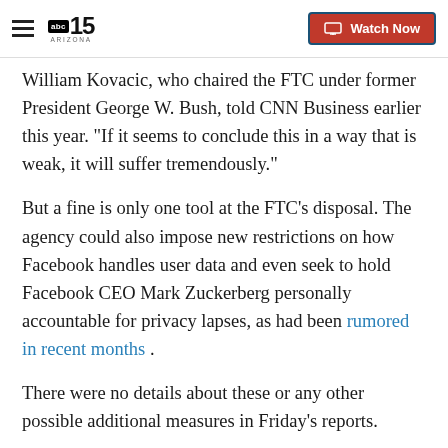abc15 ARIZONA — Watch Now
William Kovacic, who chaired the FTC under former President George W. Bush, told CNN Business earlier this year. "If it seems to conclude this in a way that is weak, it will suffer tremendously."
But a fine is only one tool at the FTC's disposal. The agency could also impose new restrictions on how Facebook handles user data and even seek to hold Facebook CEO Mark Zuckerberg personally accountable for privacy lapses, as had been rumored in recent months .
There were no details about these or any other possible additional measures in Friday's reports.
"A 2-2 vote along party lines is definitely not ideal for